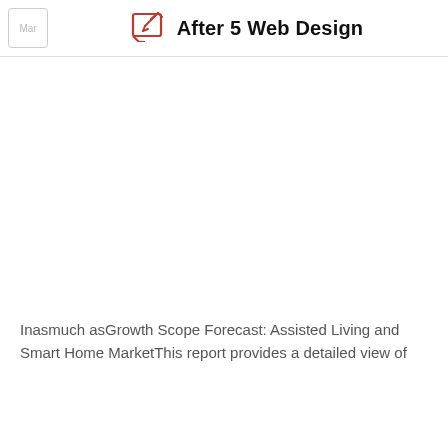After 5 Web Design
Inasmuch asGrowth Scope Forecast: Assisted Living and Smart Home MarketThis report provides a detailed view of